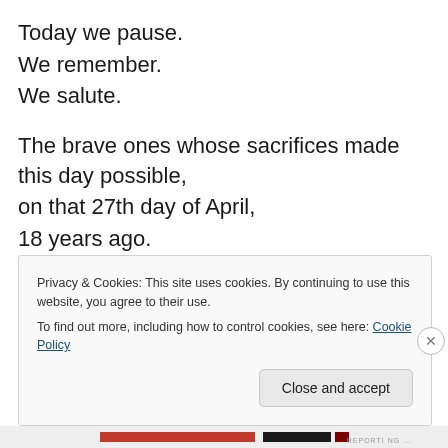Today we pause.
We remember.
We salute.
The brave ones whose sacrifices made this day possible, on that 27th day of April, 18 years ago.
Today we dance.
We sing.
We ululate.
We cry
Privacy & Cookies: This site uses cookies. By continuing to use this website, you agree to their use. To find out more, including how to control cookies, see here: Cookie Policy
Close and accept